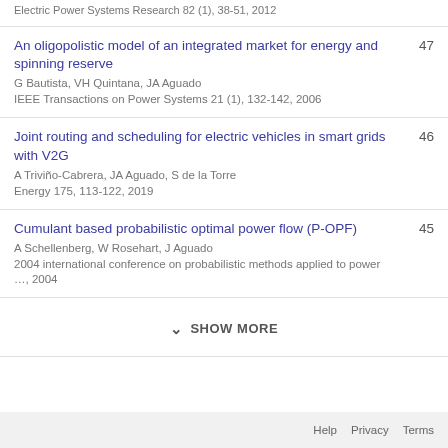Electric Power Systems Research 82 (1), 38-51, 2012
An oligopolistic model of an integrated market for energy and spinning reserve
G Bautista, VH Quintana, JA Aguado
IEEE Transactions on Power Systems 21 (1), 132-142, 2006
47
Joint routing and scheduling for electric vehicles in smart grids with V2G
A Triviño-Cabrera, JA Aguado, S de la Torre
Energy 175, 113-122, 2019
46
Cumulant based probabilistic optimal power flow (P-OPF)
A Schellenberg, W Rosehart, J Aguado
2004 international conference on probabilistic methods applied to power …, 2004
45
SHOW MORE
Help   Privacy   Terms